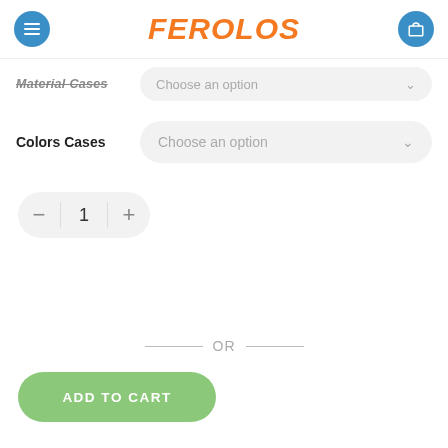FEROLOS
Material Cases — Choose an option
Colors Cases — Choose an option
- 1 +
— OR —
ADD TO CART